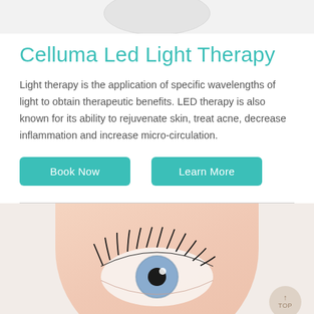[Figure (photo): Partial view of a circular device/product image at the top of the page, cropped at the top edge]
Celluma Led Light Therapy
Light therapy is the application of specific wavelengths of light to obtain therapeutic benefits. LED therapy is also known for its ability to rejuvenate skin, treat acne, decrease inflammation and increase micro-circulation.
Book Now | Learn More (buttons)
[Figure (photo): Close-up photo of a human eye with lashes against a peach/skin-toned circular background, cropped at the bottom of the page. A 'TOP' scroll button appears in the bottom right corner.]